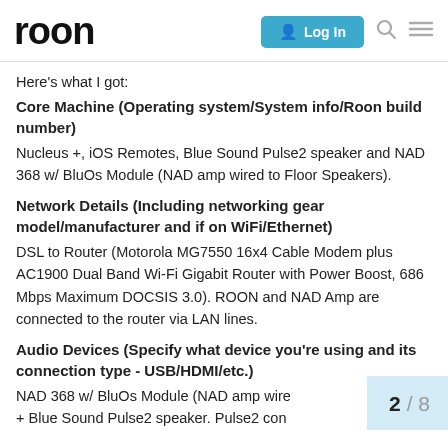roon  Log In
Here's what I got:
Core Machine (Operating system/System info/Roon build number)
Nucleus +, iOS Remotes, Blue Sound Pulse2 speaker and NAD 368 w/ BluOs Module (NAD amp wired to Floor Speakers).
Network Details (Including networking gear model/manufacturer and if on WiFi/Ethernet)
DSL to Router (Motorola MG7550 16x4 Cable Modem plus AC1900 Dual Band Wi-Fi Gigabit Router with Power Boost, 686 Mbps Maximum DOCSIS 3.0). ROON and NAD Amp are connected to the router via LAN lines.
Audio Devices (Specify what device you're using and its connection type - USB/HDMI/etc.)
NAD 368 w/ BluOs Module (NAD amp wire + Blue Sound Pulse2 speaker. Pulse2 con
2 / 8